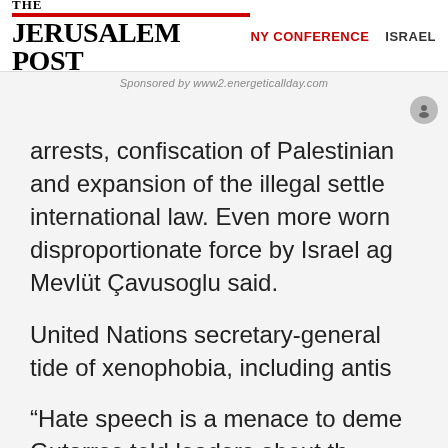THE JERUSALEM POST | NY CONFERENCE | ISRAEL
Sponsored by www2.energeticallday.com
arrests, confiscation of Palestinian and expansion of the illegal settle international law. Even more worrn disproportionate force by Israel ag Mevlüt Çavusoglu said.
United Nations secretary-general tide of xenophobia, including antis
"Hate speech is a menace to deme Gutarres told leaders about th